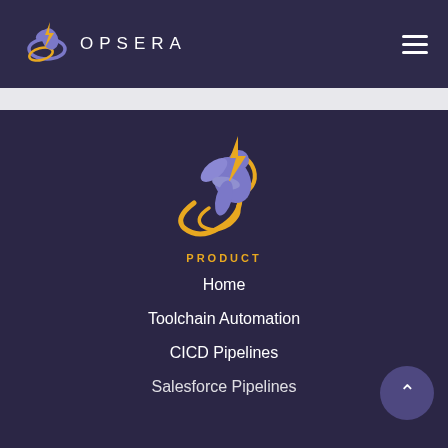[Figure (logo): Opsera logo with hummingbird and lightning bolt icon plus OPSERA wordmark in white]
[Figure (other): Hamburger menu icon (three horizontal lines) in white]
[Figure (logo): Large Opsera hummingbird logo centered in navigation drawer]
PRODUCT
Home
Toolchain Automation
CICD Pipelines
Salesforce Pipelines